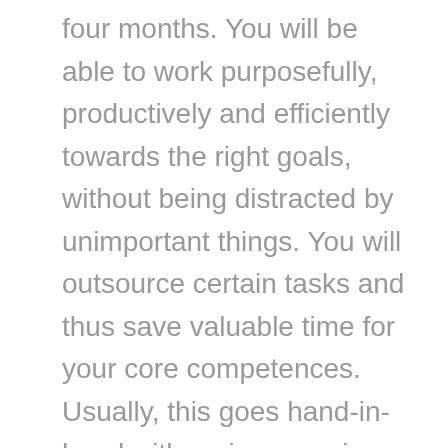four months. You will be able to work purposefully, productively and efficiently towards the right goals, without being distracted by unimportant things. You will outsource certain tasks and thus save valuable time for your core competences. Usually, this goes hand-in-hand with an increase in sales and profits because coaching enables you to work on your weaknesses while keeping the focus on your strengths. You will not only work efficiently, but also effectively on your success – you will learn the fundamentals in my .coaching